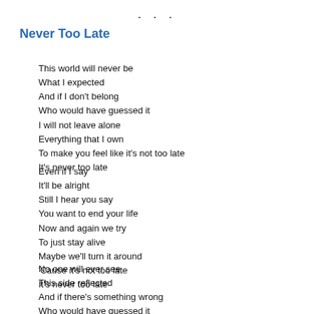...
Never Too Late
This world will never be
What I expected
And if I don't belong
Who would have guessed it
I will not leave alone
Everything that I own
To make you feel like it's not too late
It's never too late
Even if I say
It'll be alright
Still I hear you say
You want to end your life
Now and again we try
To just stay alive
Maybe we'll turn it around
'Cause it's not too late
It's never too late
No one will ever see
This side reflected
And if there's something wrong
Who would have guessed it
And I have left alone